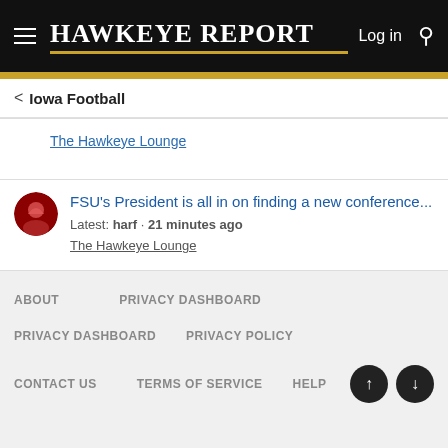Hawkeye Report
Iowa Football
The Hawkeye Lounge
FSU's President is all in on finding a new conference...
Latest: harf · 21 minutes ago
The Hawkeye Lounge
ABOUT  PRIVACY DASHBOARD  PRIVACY DASHBOARD  PRIVACY POLICY  CONTACT US  TERMS OF SERVICE  HELP